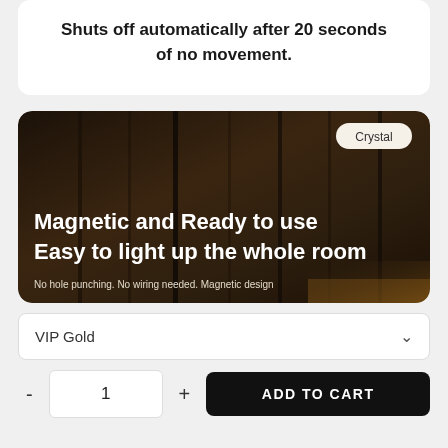Shuts off automatically after 20 seconds of no movement.
[Figure (photo): Dark-toned product lifestyle image showing a magnetic LED light mounted on a wooden shelving unit. A 'Crystal' badge appears in the top right corner. Bold white text reads 'Magnetic and Ready to use / Easy to light up the whole room'. Below in smaller text: 'No hole punching. No wiring needed. Magnetic design'. A warm amber glow is visible at the bottom right.]
VIP Gold
1
ADD TO CART